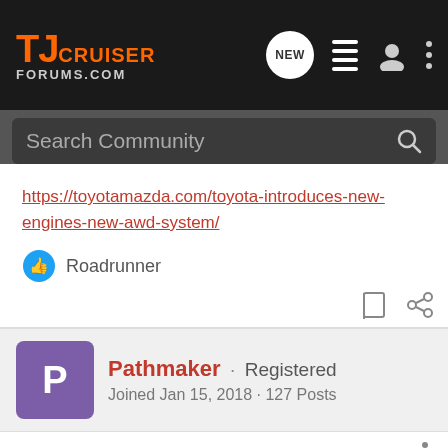TJ CRUISER FORUMS.COM — navigation bar with Search Community
https://toyotamazda.com/toyota-introduces-new-engines-new-awd-system/
Roadrunner
Pathmaker · Registered
Joined Jan 15, 2018 · 127 Posts
#19 · Mar 19, 2018
I'm liking those engine specs and I hope that is indeed what we see in the new Rav4. Wouldn't be surprising to see a hybrid powertrain option, as that should provide some boosts to